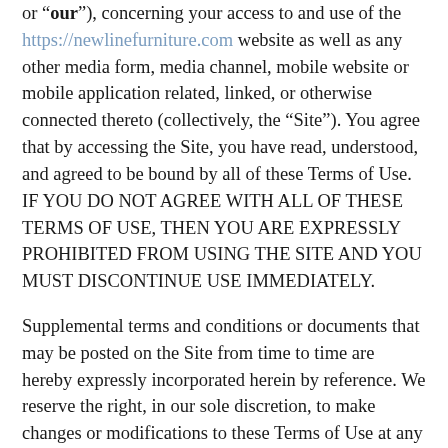or “our”), concerning your access to and use of the https://newlinefurniture.com website as well as any other media form, media channel, mobile website or mobile application related, linked, or otherwise connected thereto (collectively, the “Site”). You agree that by accessing the Site, you have read, understood, and agreed to be bound by all of these Terms of Use. IF YOU DO NOT AGREE WITH ALL OF THESE TERMS OF USE, THEN YOU ARE EXPRESSLY PROHIBITED FROM USING THE SITE AND YOU MUST DISCONTINUE USE IMMEDIATELY.
Supplemental terms and conditions or documents that may be posted on the Site from time to time are hereby expressly incorporated herein by reference. We reserve the right, in our sole discretion, to make changes or modifications to these Terms of Use at any time and for any reason. We will alert you about any changes by updating the “Last updated” date of these Terms of Use, and you waive any right to receive specific notice of each such change. It is your responsibility to